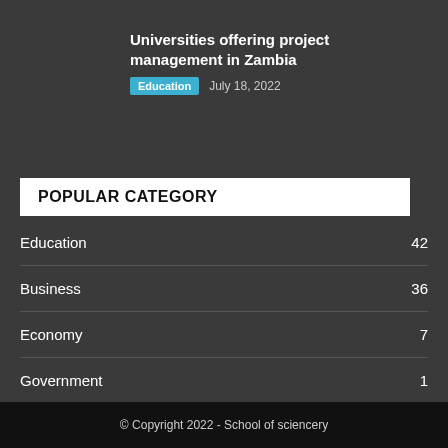Universities offering project management in Zambia
Education   July 18, 2022
POPULAR CATEGORY
Education 42
Business 36
Economy 7
Government 1
Law 0
© Copyright 2022 - School of sciencery